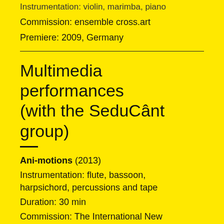Instrumentation: violin, marimba, piano
Commission: ensemble cross.art
Premiere: 2009, Germany
Multimedia performances (with the SeduCânt group)
Ani-motions (2013)
Instrumentation: flute, bassoon, harpsichord, percussions and tape
Duration: 30 min
Commission: The International New Music Week
Premiere: May 26th 2013, the Opera and Multimedia Hall of the National